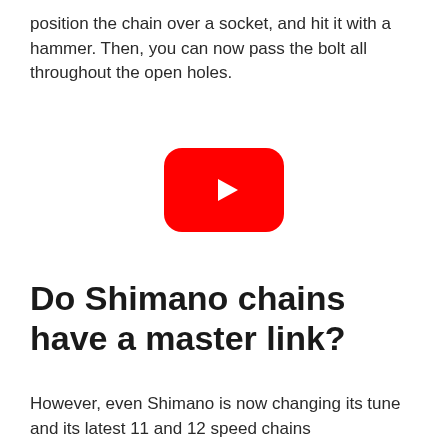position the chain over a socket, and hit it with a hammer. Then, you can now pass the bolt all throughout the open holes.
[Figure (screenshot): YouTube play button icon — red rounded rectangle with white triangle play arrow in the center]
Do Shimano chains have a master link?
However, even Shimano is now changing its tune and its latest 11 and 12 speed chains